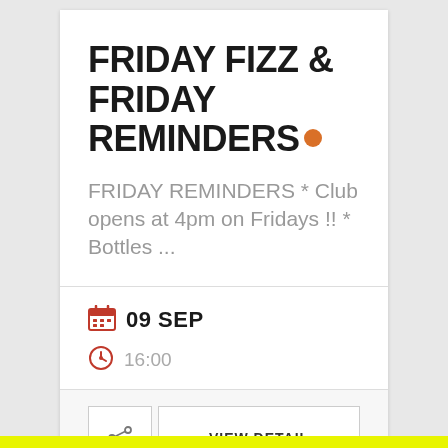FRIDAY FIZZ & FRIDAY REMINDERS
FRIDAY REMINDERS * Club opens at 4pm on Fridays !! * Bottles ...
09 SEP
16:00
VIEW DETAIL